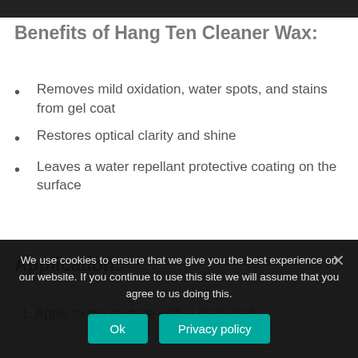[Figure (photo): Dark image strip at top of page]
Benefits of Hang Ten Cleaner Wax:
Removes mild oxidation, water spots, and stains from gel coat
Restores optical clarity and shine
Leaves a water repellant protective coating on the surface
Application:
1. Apply to the surface with a foam pad...
We use cookies to ensure that we give you the best experience on our website. If you continue to use this site we will assume that you agree to us doing this.
Ok  Privacy policy